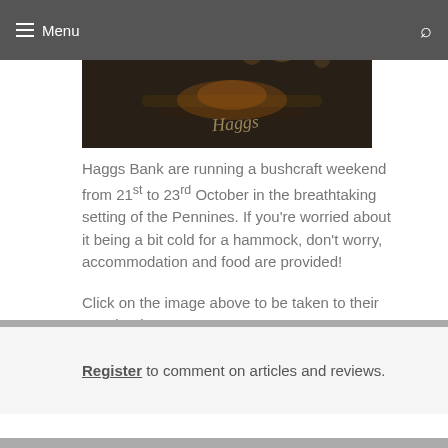Menu
[Figure (photo): Dark outdoor/campfire bushcraft scene with bokeh lights and a stylized signature overlay]
Haggs Bank are running a bushcraft weekend from 21st to 23rd October in the breathtaking setting of the Pennines. If you're worried about it being a bit cold for a hammock, don't worry, accommodation and food are provided!
Click on the image above to be taken to their Facebook events page.
Register to comment on articles and reviews.